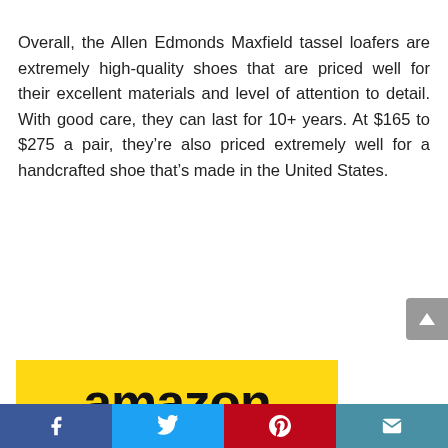Overall, the Allen Edmonds Maxfield tassel loafers are extremely high-quality shoes that are priced well for their excellent materials and level of attention to detail. With good care, they can last for 10+ years. At $165 to $275 a pair, they're also priced extremely well for a handcrafted shoe that's made in the United States.
[Figure (logo): Amazon logo on yellow background]
[Figure (infographic): Social media share bar with Facebook, Twitter, Pinterest, and email icons]